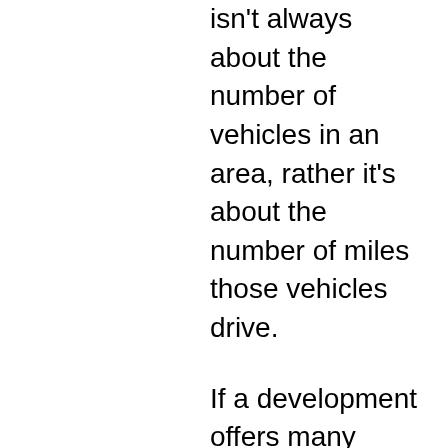isn't always about the number of vehicles in an area, rather it's about the number of miles those vehicles drive.
If a development offers many amenities and business opportunities in an small area like mixed-use developments do, people are more likely to do business and recreate closer to home, cutting down on the need to drive. In fact, many professional planners say that mixed-use developments that offer a high quality of life area around them can often bring with them positive economic impact for the entire region while promoting a better